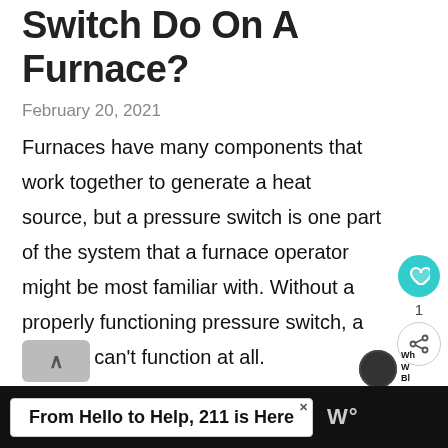Switch Do On A Furnace?
February 20, 2021
Furnaces have many components that work together to generate a heat source, but a pressure switch is one part of the system that a furnace operator might be most familiar with. Without a properly functioning pressure switch, a furnace can't function at all.
From Hello to Help, 211 is Here